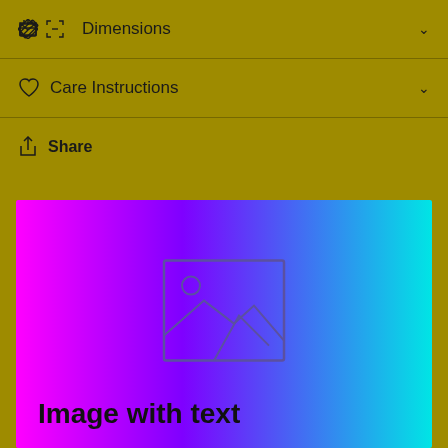Dimensions
Care Instructions
Share
[Figure (illustration): Gradient image placeholder block (magenta to cyan) with a placeholder image icon (landscape/mountain scene outline) and the text 'Image with text' overlaid at the bottom left.]